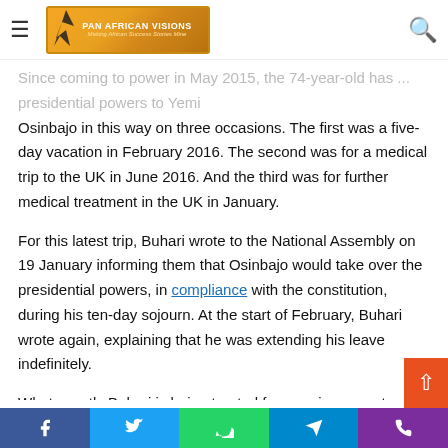Pan African Visions - navigation bar with logo and search icon
Since coming to power in May 2015, the 74-year-old has ... presidential powers to Yemi Osinbajo in this way on three occasions. The first was a five-day vacation in February 2016. The second was for a medical trip to the UK in June 2016. And the third was for further medical treatment in the UK in January.
For this latest trip, Buhari wrote to the National Assembly on 19 January informing them that Osinbajo would take over the presidential powers, in compliance with the constitution, during his ten-day sojourn. At the start of February, Buhari wrote again, explaining that he was extending his leave indefinitely.
What exactly Buhari is being treated for remains a mystery, as does the exact state of his health, and this